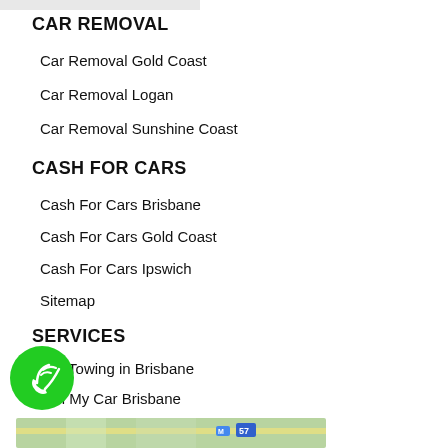CAR REMOVAL
Car Removal Gold Coast
Car Removal Logan
Car Removal Sunshine Coast
CASH FOR CARS
Cash For Cars Brisbane
Cash For Cars Gold Coast
Cash For Cars Ipswich
Sitemap
SERVICES
Car Towing in Brisbane
Sell My Car Brisbane
Unwanted Car Value Estimator
[Figure (map): Map strip at bottom of page showing street map]
[Figure (illustration): Green circular phone/call button with wifi/call icon]